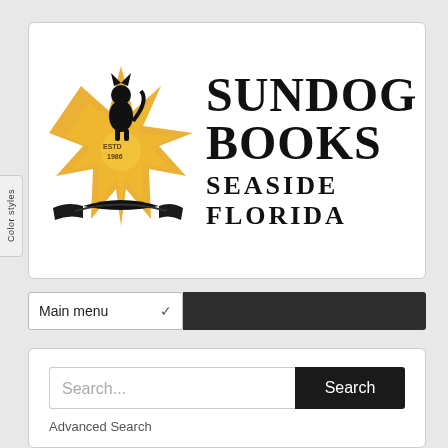[Figure (logo): Sundog Books logo with golden sun and black cat/dog figure sitting on an open book]
SUNDOG BOOKS
SEASIDE FLORIDA
Main menu
Search...
Search
Advanced Search
The Land of Stories: Beyond the